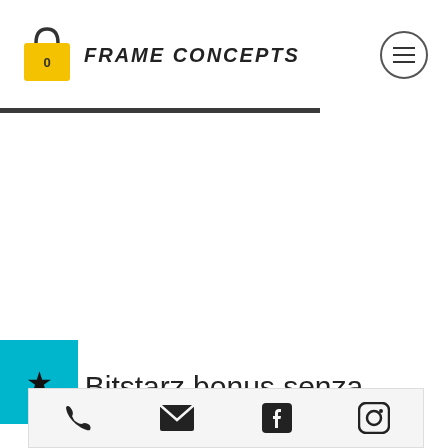FRAME CONCEPTS
Bitstarz bonus senza
[Figure (screenshot): Bottom contact bar with phone, email, Facebook, and Instagram icons]